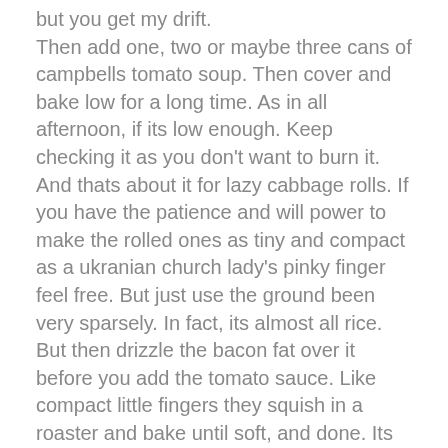but you get my drift.
Then add one, two or maybe three cans of campbells tomato soup. Then cover and bake low for a long time. As in all afternoon, if its low enough. Keep checking it as you don't want to burn it.
And thats about it for lazy cabbage rolls. If you have the patience and will power to make the rolled ones as tiny and compact as a ukranian church lady's pinky finger feel free. But just use the ground been very sparsely. In fact, its almost all rice. But then drizzle the bacon fat over it before you add the tomato sauce. Like compact little fingers they squish in a roaster and bake until soft, and done. Its easy too if you freeze solid fresh cabbage for a month or so before you slightly blanche it. Make the rolling easier and more tender.
Of course..you can use sour cabbage too, the brown